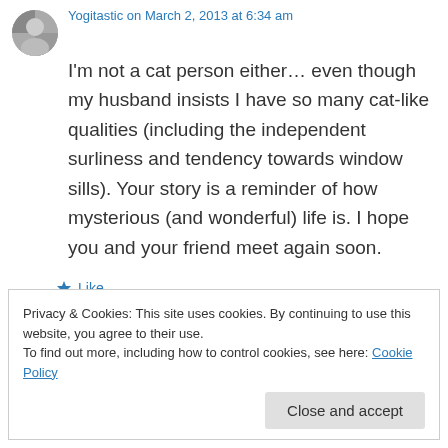Yogitastic on March 2, 2013 at 6:34 am
I'm not a cat person either… even though my husband insists I have so many cat-like qualities (including the independent surliness and tendency towards window sills). Your story is a reminder of how mysterious (and wonderful) life is. I hope you and your friend meet again soon.
★ Like
↪ Reply
Privacy & Cookies: This site uses cookies. By continuing to use this website, you agree to their use. To find out more, including how to control cookies, see here: Cookie Policy
Close and accept